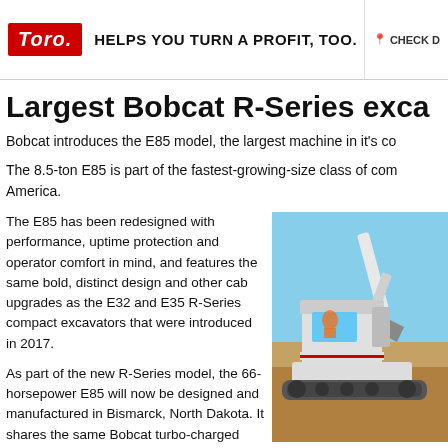[Figure (other): Toro advertisement banner with red logo and tagline 'HELPS YOU TURN A PROFIT, TOO.' with CHECK button]
Largest Bobcat R-Series exca
Bobcat introduces the E85 model, the largest machine in it's co
The 8.5-ton E85 is part of the fastest-growing-size class of com America.
The E85 has been redesigned with performance, uptime protection and operator comfort in mind, and features the same bold, distinct design and other cab upgrades as the E32 and E35 R-Series compact excavators that were introduced in 2017.
As part of the new R-Series model, the 66-horsepower E85 will now be designed and manufactured in Bismarck, North Dakota. It shares the same Bobcat turbo-charged diesel engine technology – that does not require a diesel particulate filter (DPF) or
[Figure (photo): Photo of a Bobcat R-Series compact excavator on a job site with blue sky background]